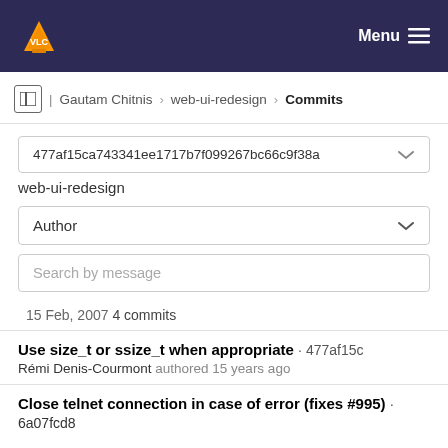VLC Menu
Gautam Chitnis > web-ui-redesign > Commits
477af15ca743341ee1717b7f099267bc66c9f38a
web-ui-redesign
Author
Search by message
15 Feb, 2007 4 commits
Use size_t or ssize_t when appropriate · 477af15c
Rémi Denis-Courmont authored 15 years ago
Close telnet connection in case of error (fixes #995) · 6a07fcd8